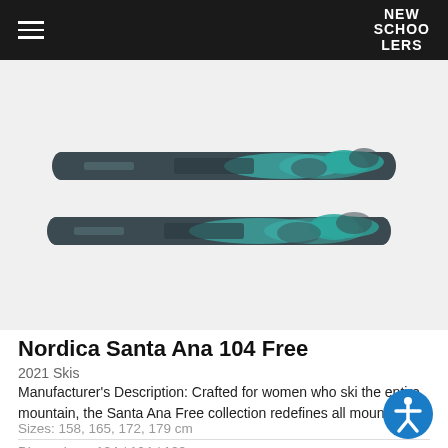NEW SCHOOLERS
[Figure (photo): Two Nordica Santa Ana 104 Free skis shown flat, one slightly above the other. The skis are dark grey/charcoal with teal/turquoise floral and eagle graphic pattern on the top sheet.]
Nordica Santa Ana 104 Free
2021 Skis
Manufacturer's Description: Crafted for women who ski the entire mountain, the Santa Ana Free collection redefines all moun
Sizes: 158, 165, 172, 179 cm
Dimensions: 134 / 104 / 123 mm